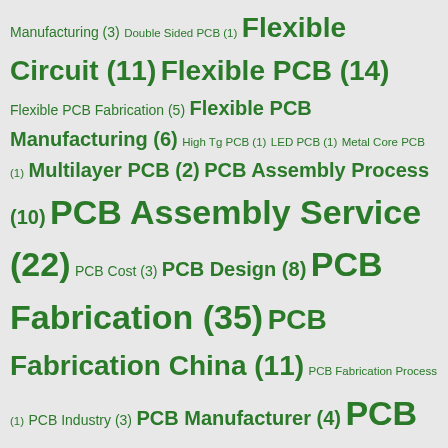Manufacturing (3) Double Sided PCB (1) Flexible Circuit (11) Flexible PCB (14) Flexible PCB Fabrication (5) Flexible PCB Manufacturing (6) High Tg PCB (1) LED PCB (1) Metal Core PCB (1) Multilayer PCB (2) PCB Assembly Process (10) PCB Assembly Service (22) PCB Cost (3) PCB Design (8) PCB Fabrication (35) PCB Fabrication China (11) PCB Fabrication Process (1) PCB Industry (3) PCB Manufacturer (4) PCB Manufacturing (36) PCB Manufacturing Process (3) PCB Material (3) PCB Price (3) PCB Printing (9) PCB Prototype (2) PCB Soldering (4) PCB Solder Mask (1) PCB Stencil (2) PCB Testing (2) Printed Circuit Board (3) Prototype PCB (2)